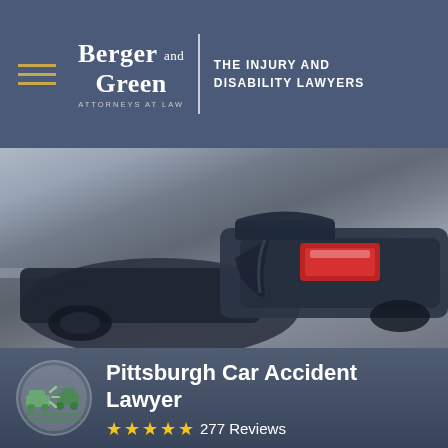[Figure (logo): Berger and Green Attorneys at Law logo with hamburger menu icon, firm name, vertical divider, and tagline 'THE INJURY AND DISABILITY LAWYERS' on dark blue header background]
[Figure (photo): Close-up photograph of two dark cars in a rear-end collision, showing crumpled rear bumper and red tail light of one vehicle, muted blue-gray tones with overlay]
[Figure (illustration): Green circular icon depicting two cars colliding, car accident icon]
Pittsburgh Car Accident Lawyer
★★★★★  277 Reviews